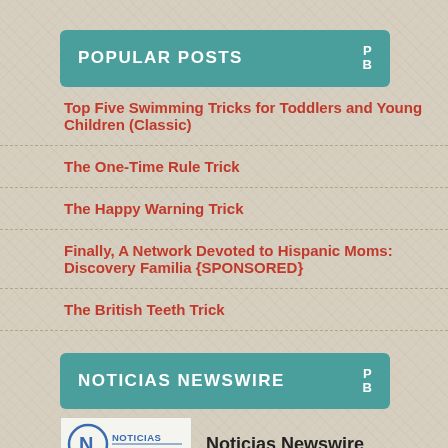POPULAR POSTS PB
Top Five Swimming Tricks for Toddlers and Young Children (Classic)
The One-Time Rule Trick
The Happy Warning Trick
Finally, A Network Devoted to Hispanic Moms: Discovery Familia {SPONSORED}
The British Teeth Trick
NOTICIAS NEWSWIRE PB
[Figure (logo): Noticias Newswire logo with circular N icon and text NOTICIAS]